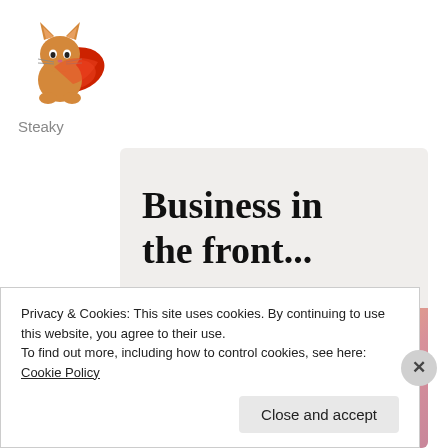[Figure (illustration): Pixel art illustration of an orange cat wearing a red superhero cape]
Steaky
[Figure (illustration): Banner image with two sections: top section on light gray background with bold text 'Business in the front...', bottom section on orange gradient background with bold text 'WordPress in the back.']
Privacy & Cookies: This site uses cookies. By continuing to use this website, you agree to their use.
To find out more, including how to control cookies, see here: Cookie Policy
Close and accept